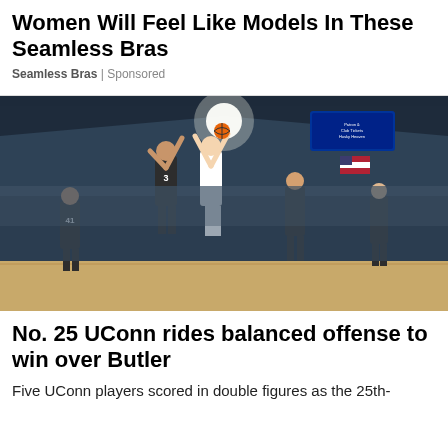Women Will Feel Like Models In These Seamless Bras
Seamless Bras | Sponsored
[Figure (photo): Basketball game action photo showing a UConn player in white shooting over a Butler defender wearing number 3, with additional players and a packed arena in the background.]
No. 25 UConn rides balanced offense to win over Butler
Five UConn players scored in double figures as the 25th-